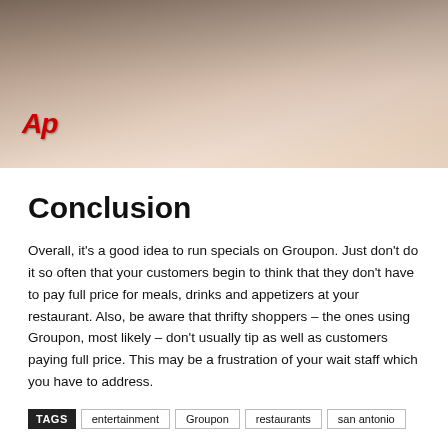[Figure (photo): AP news video still showing a man in a light-colored shirt, with AP logo watermark in red at bottom-left]
Conclusion
Overall, it's a good idea to run specials on Groupon. Just don't do it so often that your customers begin to think that they don't have to pay full price for meals, drinks and appetizers at your restaurant. Also, be aware that thrifty shoppers – the ones using Groupon, most likely – don't usually tip as well as customers paying full price. This may be a frustration of your wait staff which you have to address.
TAGS  entertainment  Groupon  restaurants  san antonio